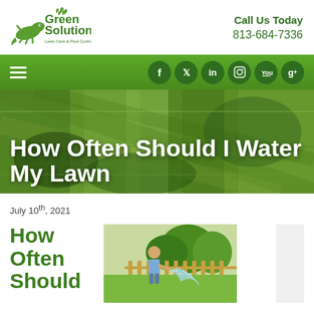[Figure (logo): Green Solutions Lawn Care & Pest Control logo with gecko mascot]
Call Us Today
813-684-7336
Navigation bar with hamburger menu and social icons: Facebook, Twitter, LinkedIn, Instagram, YouTube, Google+
How Often Should I Water My Lawn
July 10th, 2021
How Often Should
[Figure (photo): Person watering a lawn with a garden hose, yellow picket fence and trees in background]